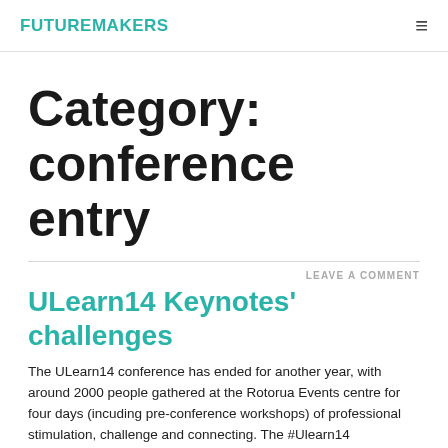FUTUREMAKERS
Category: conference entry
LEAVE A COMMENT
ULearn14 Keynotes' challenges
The ULearn14 conference has ended for another year, with around 2000 people gathered at the Rotorua Events centre for four days (incuding pre-conference workshops) of professional stimulation, challenge and connecting. The #Ulearn14